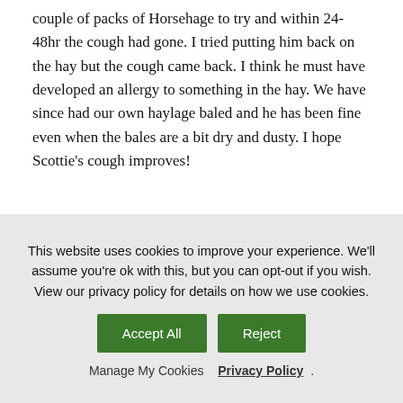couple of packs of Horsehage to try and within 24-48hr the cough had gone. I tried putting him back on the hay but the cough came back. I think he must have developed an allergy to something in the hay. We have since had our own haylage baled and he has been fine even when the bales are a bit dry and dusty. I hope Scottie’s cough improves!
Reply
EQUIPEPPER
15/02/2017 at 8:18 pm
This website uses cookies to improve your experience. We'll assume you're ok with this, but you can opt-out if you wish. View our privacy policy for details on how we use cookies.
Accept All   Reject
Manage My Cookies   Privacy Policy